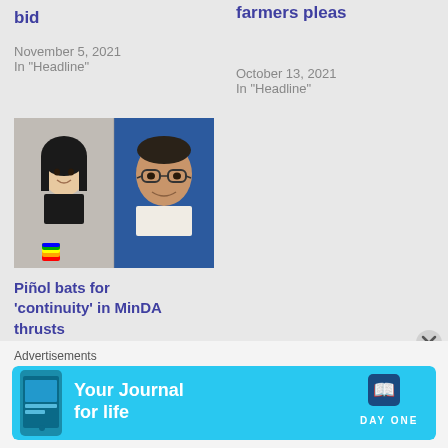bid
November 5, 2021
In "Headline"
farmers pleas
October 13, 2021
In "Headline"
[Figure (photo): Two headshots side by side: a woman on the left with dark hair, and a man on the right wearing glasses, set against a blue background.]
Piñol bats for 'continuity' in MinDA thrusts
January 19, 2022
In "Headline"
Advertisements
[Figure (infographic): DayOne app advertisement banner: cyan background with phone image on left, 'Your Journal for life' text in white, and DayOne logo on right.]